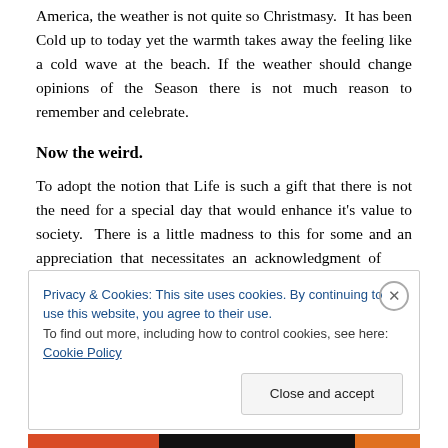America, the weather is not quite so Christmasy. It has been Cold up to today yet the warmth takes away the feeling like a cold wave at the beach. If the weather should change opinions of the Season there is not much reason to remember and celebrate.
Now the weird.
To adopt the notion that Life is such a gift that there is not the need for a special day that would enhance it's value to society. There is a little madness to this for some and an appreciation that necessitates an acknowledgment of
Privacy & Cookies: This site uses cookies. By continuing to use this website, you agree to their use.
To find out more, including how to control cookies, see here: Cookie Policy